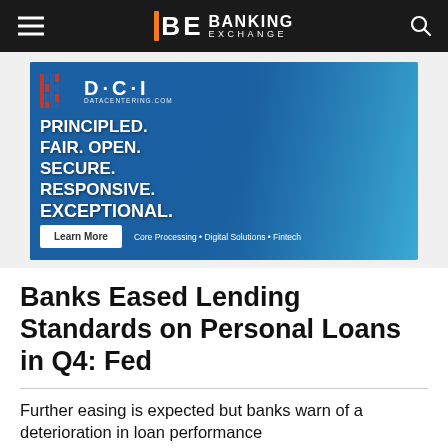Banking Exchange
[Figure (illustration): DCI (Data Centering Inc) advertisement banner with blue gradient background, woman with glasses smiling, text: PRINCIPLED. FAIR. OPEN. SECURE. RESPONSIVE. EXCEPTIONAL. Learn More button. Core Processing • Digital Solutions • Fintech]
Banks Eased Lending Standards on Personal Loans in Q4: Fed
Further easing is expected but banks warn of a deterioration in loan performance